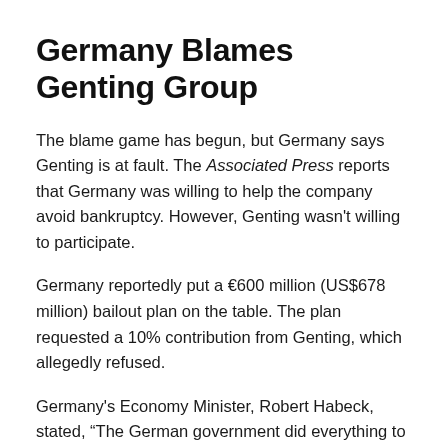Germany Blames Genting Group
The blame game has begun, but Germany says Genting is at fault. The Associated Press reports that Germany was willing to help the company avoid bankruptcy. However, Genting wasn't willing to participate.
Germany reportedly put a €600 million (US$678 million) bailout plan on the table. The plan requested a 10% contribution from Genting, which allegedly refused.
Germany's Economy Minister, Robert Habeck, stated, “The German government did everything to prevent the insolvency of MV Werften and thereby save jobs. However, the owners rejected our offer of help; the bankruptcy application is the result.”